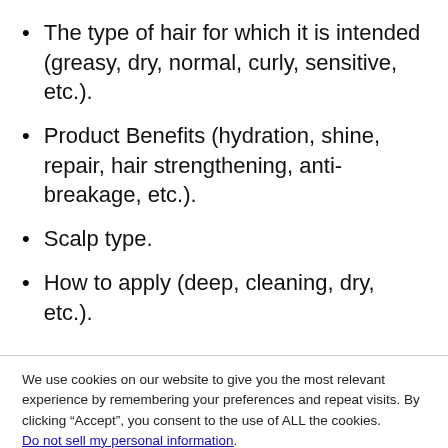The type of hair for which it is intended (greasy, dry, normal, curly, sensitive, etc.).
Product Benefits (hydration, shine, repair, hair strengthening, anti-breakage, etc.).
Scalp type.
How to apply (deep, cleaning, dry, etc.).
We use cookies on our website to give you the most relevant experience by remembering your preferences and repeat visits. By clicking “Accept”, you consent to the use of ALL the cookies. Do not sell my personal information.
Cookie settings   ACCEPT